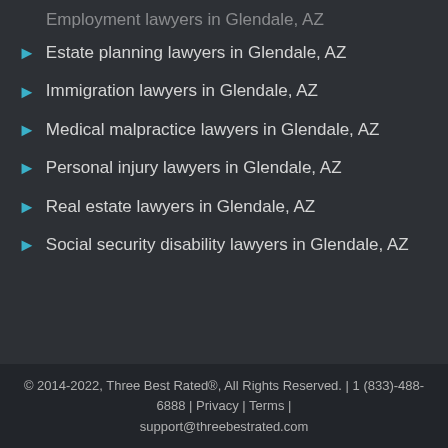Estate planning lawyers in Glendale, AZ
Immigration lawyers in Glendale, AZ
Medical malpractice lawyers in Glendale, AZ
Personal injury lawyers in Glendale, AZ
Real estate lawyers in Glendale, AZ
Social security disability lawyers in Glendale, AZ
© 2014-2022, Three Best Rated®, All Rights Reserved. | 1 (833)-488-6888 | Privacy | Terms | support@threebestrated.com